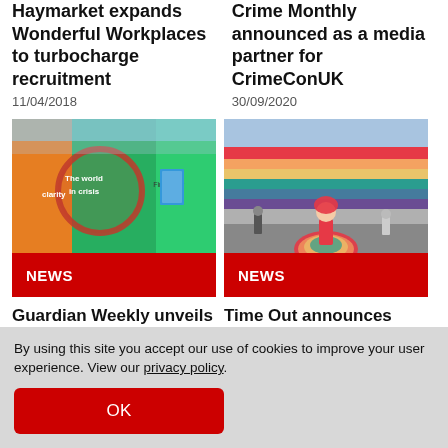Haymarket expands Wonderful Workplaces to turbocharge recruitment
11/04/2018
Crime Monthly announced as a media partner for CrimeConUK
30/09/2020
[Figure (photo): Outdoor billboard advertisement showing 'The world in crisis' mural with colorful graffiti-style artwork on a wall]
NEWS
[Figure (photo): Person in rainbow dress at a Pride parade holding a large rainbow flag overhead in a city street]
NEWS
Guardian Weekly unveils new ad campaign in select European cities
13/10/2020
Time Out announces new media partnerships
09/07/2021
By using this site you accept our use of cookies to improve your user experience. View our privacy policy.
OK